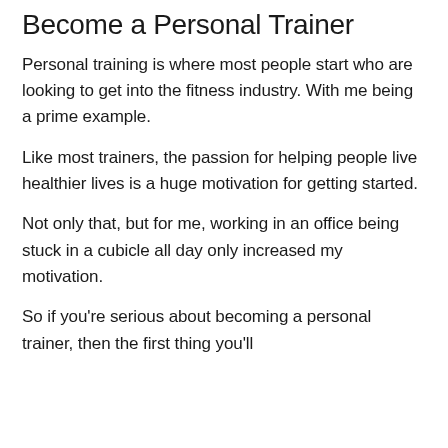Become a Personal Trainer
Personal training is where most people start who are looking to get into the fitness industry. With me being a prime example.
Like most trainers, the passion for helping people live healthier lives is a huge motivation for getting started.
Not only that, but for me, working in an office being stuck in a cubicle all day only increased my motivation.
So if you're serious about becoming a personal trainer, then the first thing you'll